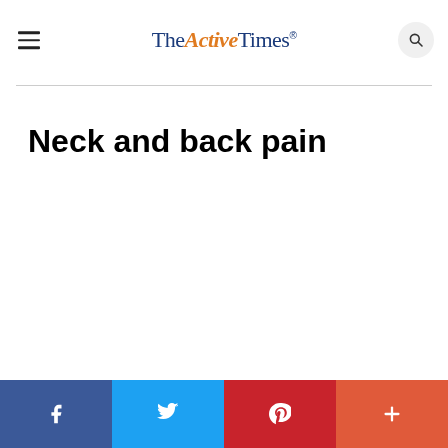TheActiveTimes
Neck and back pain
Facebook, Twitter, Pinterest, More social share buttons